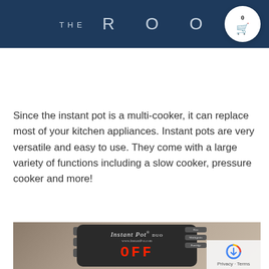THE ROO
Since the instant pot is a multi-cooker, it can replace most of your kitchen appliances. Instant pots are very versatile and easy to use. They come with a large variety of functions including a slow cooker, pressure cooker and more!
[Figure (photo): Close-up photo of an Instant Pot pressure cooker control panel showing the brand name 'Instant Pot' and the display reading 'OFF' in red LED digits, with various function buttons visible.]